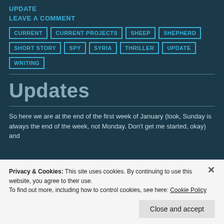UPDATE
LEAVE A COMMENT
CURRENT
CURRENT PROJECTS
SHEEP
SHEPHERD
SHORT STORY
SPY
SYRIA
THRILLER
UPDATE
WRITING
Updates
So here we are at the end of the first week of January (look, Sunday is always the end of the week, not Monday. Don't get me started, okay) and
Privacy & Cookies: This site uses cookies. By continuing to use this website, you agree to their use.
To find out more, including how to control cookies, see here: Cookie Policy
Close and accept